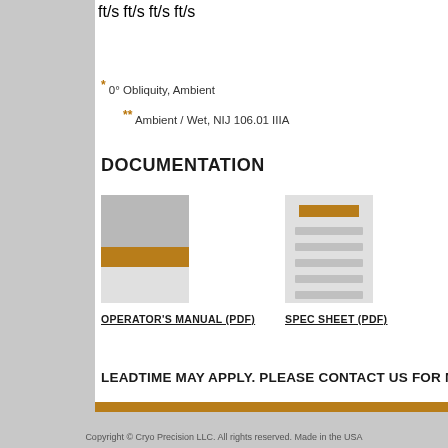| ft/s | ft/s | ft/s | ft/s |
| --- | --- | --- | --- |
* 0° Obliquity, Ambient
** Ambient / Wet, NIJ 106.01 IIIA
DOCUMENTATION
[Figure (illustration): Thumbnail image of Operator's Manual document]
OPERATOR'S MANUAL (PDF)
[Figure (illustration): Thumbnail image of Spec Sheet document]
SPEC SHEET (PDF)
LEADTIME MAY APPLY. PLEASE CONTACT US FOR MOR
Copyright © Cryo Precision LLC. All rights reserved. Made in the USA